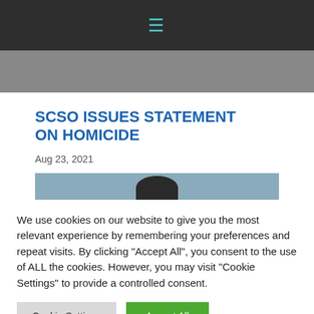≡
SCSO ISSUES STATEMENT ON HOMICIDE
Aug 23, 2021
[Figure (photo): Partial photo of a person, showing top of head against a light blue/gray background]
We use cookies on our website to give you the most relevant experience by remembering your preferences and repeat visits. By clicking "Accept All", you consent to the use of ALL the cookies. However, you may visit "Cookie Settings" to provide a controlled consent.
Cookie Settings   Accept All